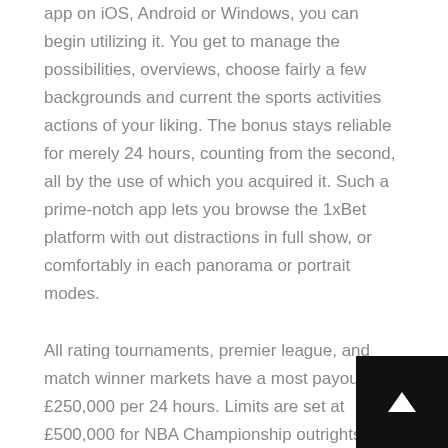app on iOS, Android or Windows, you can begin utilizing it. You get to manage the possibilities, overviews, choose fairly a few backgrounds and current the sports activities actions of your liking. The bonus stays reliable for merely 24 hours, counting from the second, all by the use of which you acquired it. Such a prime-notch app lets you browse the 1xBet platform with out distractions in full show, or comfortably in each panorama or portrait modes.
All rating tournaments, premier league, and match winner markets have a most payout of £250,000 per 24 hours. Limits are set at £500,000 for NBA Championship outrights, NFL totals, spreads, and money traces. Limits are set at £500,000 for Stanley Cup outrights, NHL